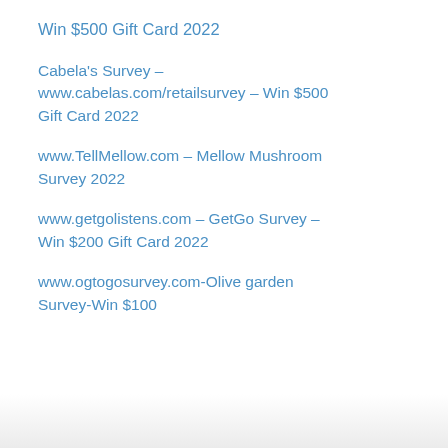Win $500 Gift Card 2022
Cabela's Survey – www.cabelas.com/retailsurvey – Win $500 Gift Card 2022
www.TellMellow.com – Mellow Mushroom Survey 2022
www.getgolistens.com – GetGo Survey – Win $200 Gift Card 2022
www.ogtogosurvey.com-Olive garden Survey-Win $100